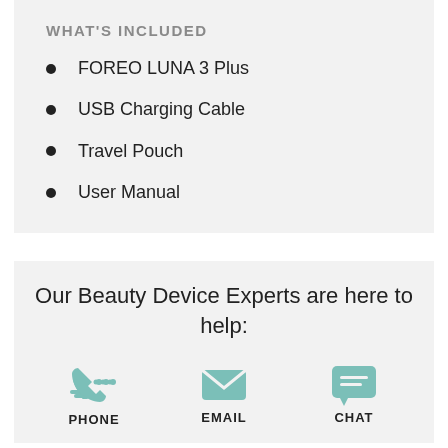WHAT'S INCLUDED
FOREO LUNA 3 Plus
USB Charging Cable
Travel Pouch
User Manual
Our Beauty Device Experts are here to help:
[Figure (infographic): Three contact icons for Phone, Email, and Chat with teal/mint colored icons and bold labels below each.]